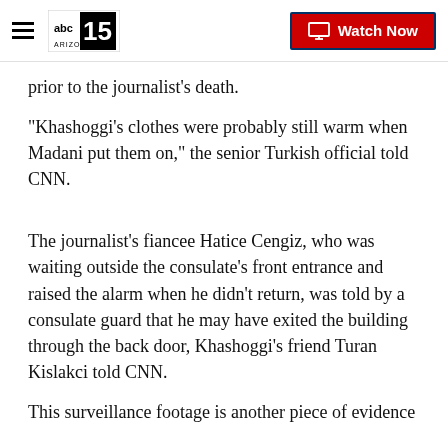abc15 ARIZONA — Watch Now
prior to the journalist's death.
"Khashoggi's clothes were probably still warm when Madani put them on," the senior Turkish official told CNN.
The journalist's fiancee Hatice Cengiz, who was waiting outside the consulate's front entrance and raised the alarm when he didn't return, was told by a consulate guard that he may have exited the building through the back door, Khashoggi's friend Turan Kislakci told CNN.
This surveillance footage is another piece of evidence